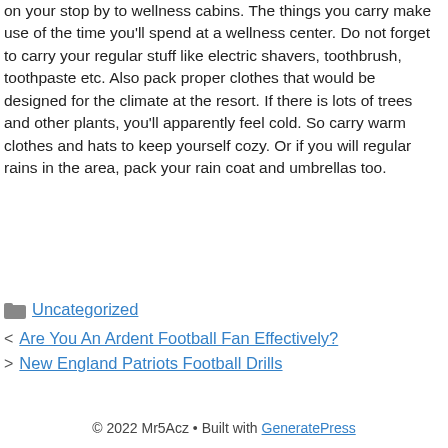on your stop by to wellness cabins. The things you carry make use of the time you'll spend at a wellness center. Do not forget to carry your regular stuff like electric shavers, toothbrush, toothpaste etc. Also pack proper clothes that would be designed for the climate at the resort. If there is lots of trees and other plants, you'll apparently feel cold. So carry warm clothes and hats to keep yourself cozy. Or if you will regular rains in the area, pack your rain coat and umbrellas too.
Uncategorized
Are You An Ardent Football Fan Effectively?
New England Patriots Football Drills
© 2022 Mr5Acz • Built with GeneratePress